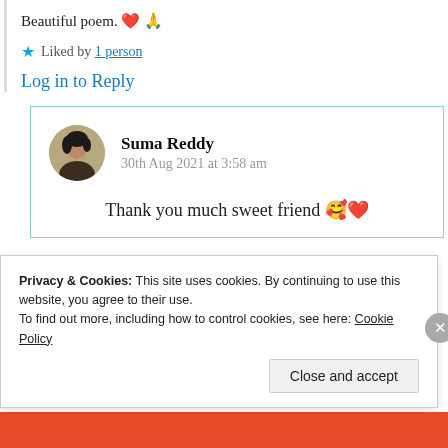Beautiful poem. ❤️ 🙏
⭐ Liked by 1 person
Log in to Reply
Suma Reddy
30th Aug 2021 at 3:58 am
Thank you much sweet friend 🥰❤️
Privacy & Cookies: This site uses cookies. By continuing to use this website, you agree to their use.
To find out more, including how to control cookies, see here: Cookie Policy
Close and accept